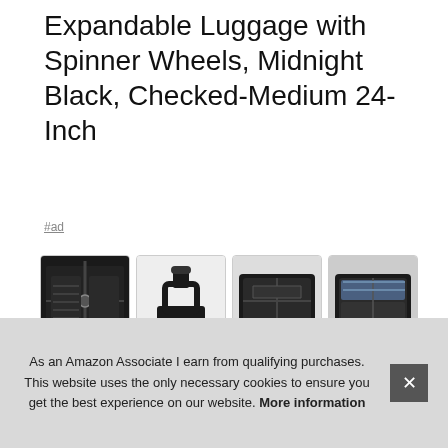Expandable Luggage with Spinner Wheels, Midnight Black, Checked-Medium 24-Inch
#ad
[Figure (photo): Four product thumbnail photos of a black expandable spinner luggage suitcase showing: close-up of zipper/lock, handle detail, open suitcase interior view, and packed suitcase interior view.]
Samsonite Freeform Hardside Expandable with Double Spinner Wheels, Checked-Medium 24-Inch
again
want
our
24" spinner luggage maximizes your packing power and is the
As an Amazon Associate I earn from qualifying purchases. This website uses the only necessary cookies to ensure you get the best experience on our website. More information